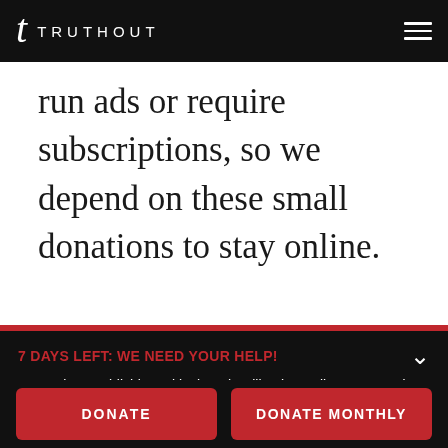TRUTHOUT
run ads or require subscriptions, so we depend on these small donations to stay online.
7 DAYS LEFT: WE NEED YOUR HELP!
To continue publishing critical, truth-telling journalism, we need to raise $43,000 in our August fundraiser. Truthout is a nonprofit and we don't run ads or require a subscription – instead, we depend on small donations to survive. Can we count on your support before time runs out?
DONATE
DONATE MONTHLY